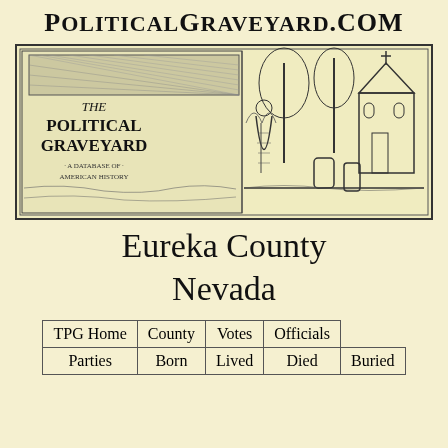PoliticalGraveyard.com
[Figure (illustration): The Political Graveyard banner illustration showing a graveyard scene with tombstones, a robed figure, and a church. Text reads 'THE POLITICAL GRAVEYARD - A Database of American History']
Eureka County Nevada
| TPG Home | County | Votes | Officials |
| Parties | Born | Lived | Died | Buried |